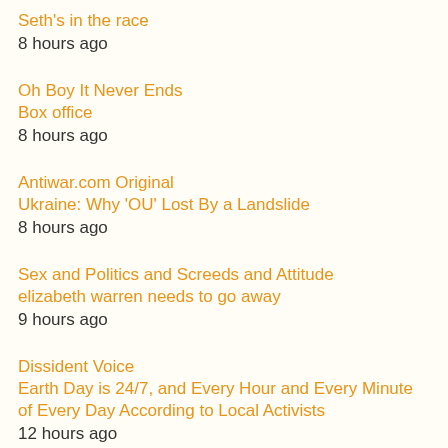Seth's in the race
8 hours ago
Oh Boy It Never Ends
Box office
8 hours ago
Antiwar.com Original
Ukraine: Why 'OU' Lost By a Landslide
8 hours ago
Sex and Politics and Screeds and Attitude
elizabeth warren needs to go away
9 hours ago
Dissident Voice
Earth Day is 24/7, and Every Hour and Every Minute of Every Day According to Local Activists
12 hours ago